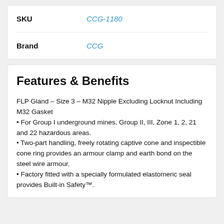| Field | Value |
| --- | --- |
| SKU | CCG-1180 |
| Brand | CCG |
Features & Benefits
FLP Gland – Size 3 – M32 Nipple Excluding Locknut Including M32 Gasket
For Group I underground mines, Group II, III, Zone 1, 2, 21 and 22 hazardous areas.
Two-part handling, freely rotating captive cone and inspectible cone ring provides an armour clamp and earth bond on the steel wire armour.
Factory fitted with a specially formulated elastomeric seal provides Built-in Safety™.